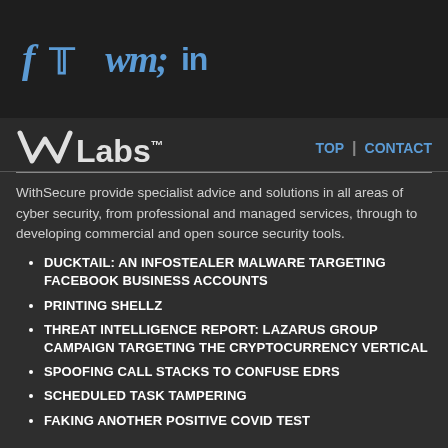[Figure (logo): Social media icons: Facebook (f), Twitter (bird), LinkedIn (in) displayed in blue on dark background]
W/ Labs™   TOP | CONTACT
WithSecure provide specialist advice and solutions in all areas of cyber security, from professional and managed services, through to developing commercial and open source security tools.
DUCKTAIL: AN INFOSTEALER MALWARE TARGETING FACEBOOK BUSINESS ACCOUNTS
PRINTING SHELLZ
THREAT INTELLIGENCE REPORT: LAZARUS GROUP CAMPAIGN TARGETING THE CRYPTOCURRENCY VERTICAL
SPOOFING CALL STACKS TO CONFUSE EDRS
SCHEDULED TASK TAMPERING
FAKING ANOTHER POSITIVE COVID TEST